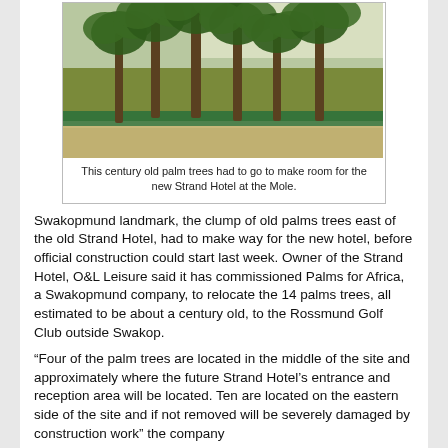[Figure (photo): Photograph of a cluster of tall century-old palm trees in a sandy area with greenery visible in the background, taken from a low angle.]
This century old palm trees had to go to make room for the new Strand Hotel at the Mole.
Swakopmund landmark, the clump of old palms trees east of the old Strand Hotel, had to make way for the new hotel, before official construction could start last week. Owner of the Strand Hotel, O&L Leisure said it has commissioned Palms for Africa, a Swakopmund company, to relocate the 14 palms trees, all estimated to be about a century old, to the Rossmund Golf Club outside Swakop.
“Four of the palm trees are located in the middle of the site and approximately where the future Strand Hotel’s entrance and reception area will be located. Ten are located on the eastern side of the site and if not removed will be severely damaged by construction work” the company